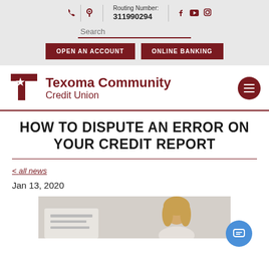Routing Number: 311990294
[Figure (screenshot): Website header with phone icon, location icon, routing number 311990294, and social media icons (Facebook, YouTube, Instagram), search bar, OPEN AN ACCOUNT and ONLINE BANKING buttons]
[Figure (logo): Texoma Community Credit Union logo with T-star icon in dark red]
HOW TO DISPUTE AN ERROR ON YOUR CREDIT REPORT
< all news
Jan 13, 2020
[Figure (photo): Partial photo of a woman with blonde hair at bottom of page]